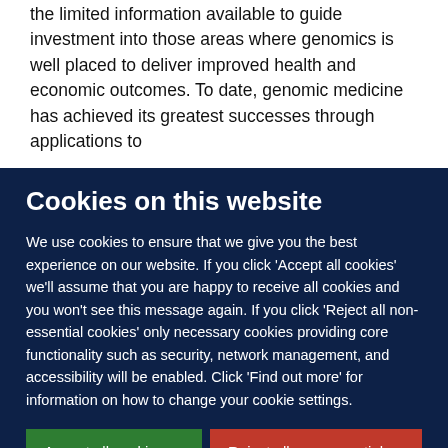the limited information available to guide investment into those areas where genomics is well placed to deliver improved health and economic outcomes. To date, genomic medicine has achieved its greatest successes through applications to
Cookies on this website
We use cookies to ensure that we give you the best experience on our website. If you click 'Accept all cookies' we'll assume that you are happy to receive all cookies and you won't see this message again. If you click 'Reject all non-essential cookies' only necessary cookies providing core functionality such as security, network management, and accessibility will be enabled. Click 'Find out more' for information on how to change your cookie settings.